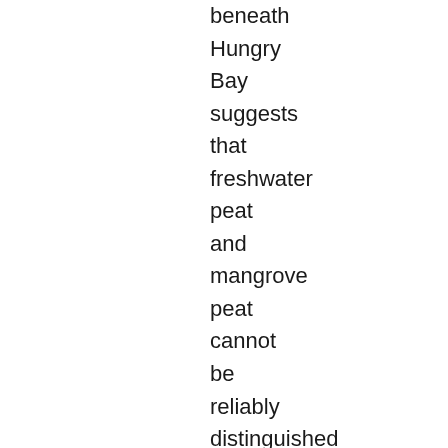beneath Hungry Bay suggests that freshwater peat and mangrove peat cannot be reliably distinguished in the sedimentary record, possibly because of post-